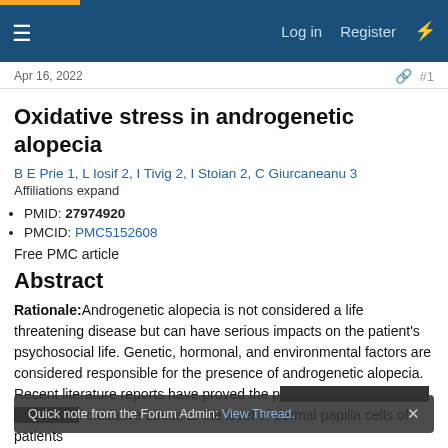Log in  Register
Apr 16, 2022  #1
Oxidative stress in androgenetic alopecia
B E Prie 1, L Iosif 2, I Tivig 2, I Stoian 2, C Giurcaneanu 3
Affiliations expand
PMID: 27974920
PMCID: PMC5152608
Free PMC article
Abstract
Rationale: Androgenetic alopecia is not considered a life threatening disease but can have serious impacts on the patient's psychosocial life. Genetic, hormonal, and environmental factors are considered responsible for the presence of androgenetic alopecia. Recent literature reports have proved the presence of inflammation and also of oxidative stress at the level of dermal papilla cells of patients
Quick note from the Forum Admin: View Thread.